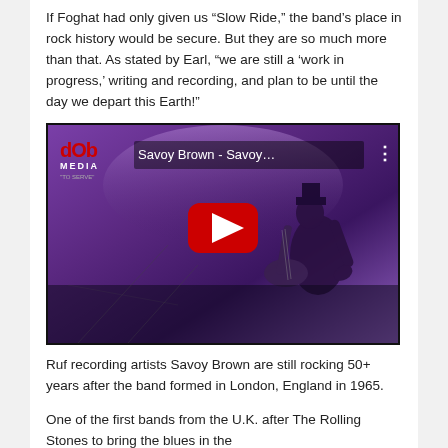If Foghat had only given us “Slow Ride,” the band’s place in rock history would be secure. But they are so much more than that. As stated by Earl, “we are still a ‘work in progress,’ writing and recording, and plan to be until the day we depart this Earth!”
[Figure (screenshot): YouTube video thumbnail for 'Savoy Brown - Savoy...' from dOb Media channel, showing a guitarist performing on stage with purple stage lighting. A large red YouTube play button is centered on the thumbnail.]
Ruf recording artists Savoy Brown are still rocking 50+ years after the band formed in London, England in 1965.
One of the first bands from the U.K. after The Rolling Stones to bring the blues in the